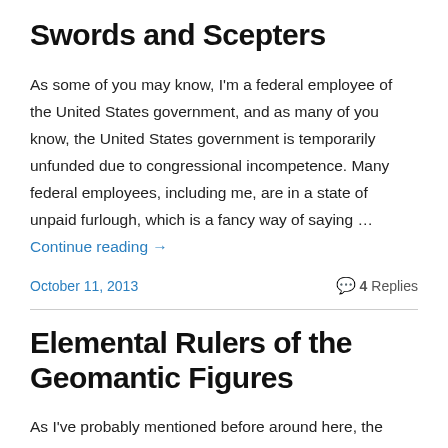Swords and Scepters
As some of you may know, I'm a federal employee of the United States government, and as many of you know, the United States government is temporarily unfunded due to congressional incompetence.  Many federal employees, including me, are in a state of unpaid furlough, which is a fancy way of saying … Continue reading →
October 11, 2013
4 Replies
Elemental Rulers of the Geomantic Figures
As I've probably mentioned before around here, the